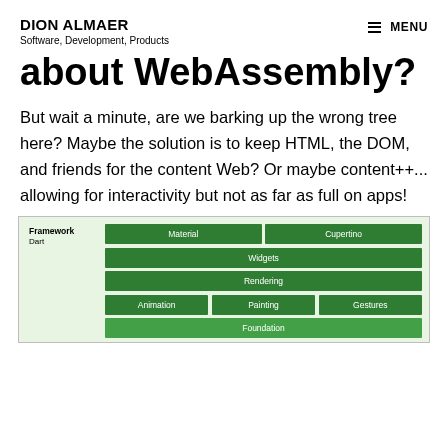DION ALMAER
Software, Development, Products
about WebAssembly?
But wait a minute, are we barking up the wrong tree here? Maybe the solution is to keep HTML, the DOM, and friends for the content Web? Or maybe content++... allowing for interactivity but not as far as full on apps!
[Figure (infographic): Flutter framework architecture diagram showing layers: Framework (Dart) with Material and Cupertino, Widgets, Rendering, Animation/Painting/Gestures rows, and Foundation at the bottom.]